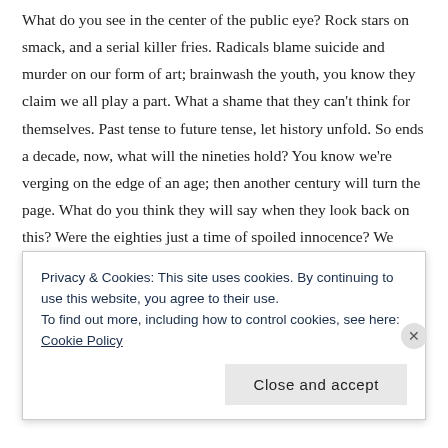What do you see in the center of the public eye? Rock stars on smack, and a serial killer fries. Radicals blame suicide and murder on our form of art; brainwash the youth, you know they claim we all play a part. What a shame that they can't think for themselves. Past tense to future tense, let history unfold. So ends a decade, now, what will the nineties hold? You know we're verging on the edge of an age; then another century will turn the page. What do you think they will say when they look back on this? Were the eighties just a time of spoiled innocence? We leave our legacy like dust in the sands of time. Let us hope the seeds we plant can carry the weight of our crimes. Past tense to future tense, let history unfold. And when we're old and gray, these stories will be told. You know we're verging on the edge of an age; then another century will turn the page. We sail on an ocean, a sea of doubt. Skeptics make no
Privacy & Cookies: This site uses cookies. By continuing to use this website, you agree to their use.
To find out more, including how to control cookies, see here: Cookie Policy
Close and accept